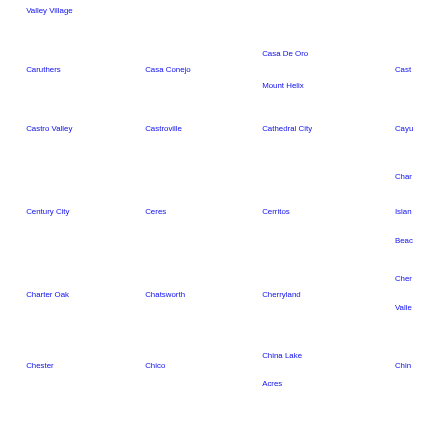Valley Village
Caruthers
Casa Conejo
Casa De Oro
Mount Helix
Cast
Castro Valley
Castroville
Cathedral City
Cayu
Char
Century City
Ceres
Cerritos
Islan
Beac
Charter Oak
Chatsworth
Cherryland
Cher
Valle
Chester
Chico
China Lake
Acres
Chin